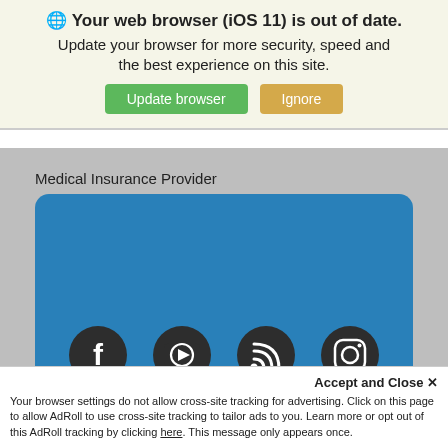🌐 Your web browser (iOS 11) is out of date.
Update your browser for more security, speed and the best experience on this site.
Medical Insurance Provider
[Figure (screenshot): Blue rounded rectangle input box for Medical Insurance Provider field]
[Figure (infographic): Four social media icons: Facebook, YouTube, RSS feed, Instagram]
Accept and Close ✕
Your browser settings do not allow cross-site tracking for advertising. Click on this page to allow AdRoll to use cross-site tracking to tailor ads to you. Learn more or opt out of this AdRoll tracking by clicking here. This message only appears once.